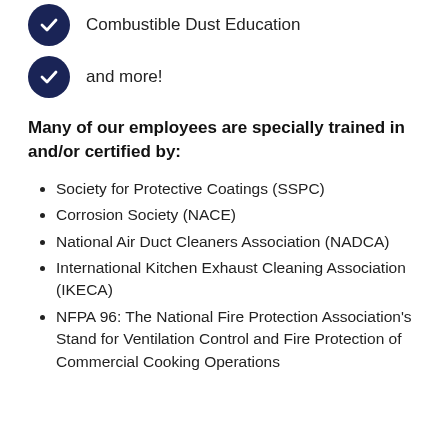Combustible Dust Education
and more!
Many of our employees are specially trained in and/or certified by:
Society for Protective Coatings (SSPC)
Corrosion Society (NACE)
National Air Duct Cleaners Association (NADCA)
International Kitchen Exhaust Cleaning Association (IKECA)
NFPA 96: The National Fire Protection Association's Stand for Ventilation Control and Fire Protection of Commercial Cooking Operations